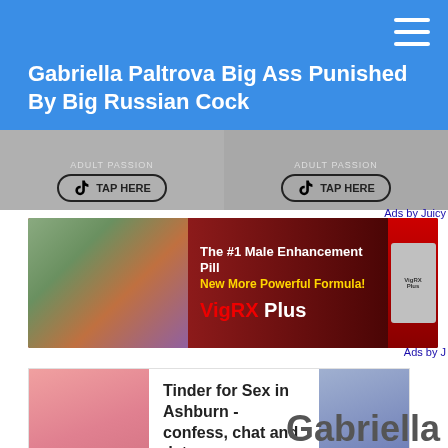Gabriella Paltrova Big Ass Punished By Big Russian Cock
[Figure (screenshot): TikTok-style advertisement banner with 'TAP HERE' buttons, two panels side by side]
Ads by Juicy
[Figure (photo): VigRX Plus male enhancement pill advertisement banner with couple photo]
Ads by J
[Figure (infographic): Dating advertisement: Tinder for Sex in Ashburn - confess, chat and date... Besecret.com Secret Dating]
Gabriella P